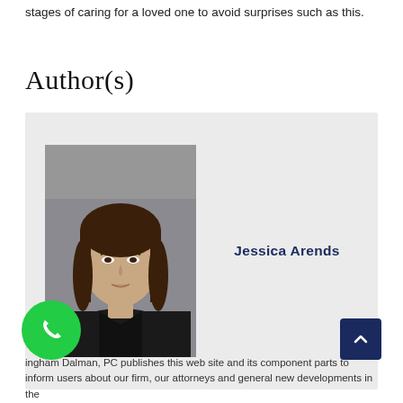stages of caring for a loved one to avoid surprises such as this.
Author(s)
[Figure (photo): Professional headshot of Jessica Arends, a woman with long brown hair wearing a black blazer, against a grey background.]
Jessica Arends
ingham Dalman, PC publishes this web site and its component parts to inform users about our firm, our attorneys and general new developments in the